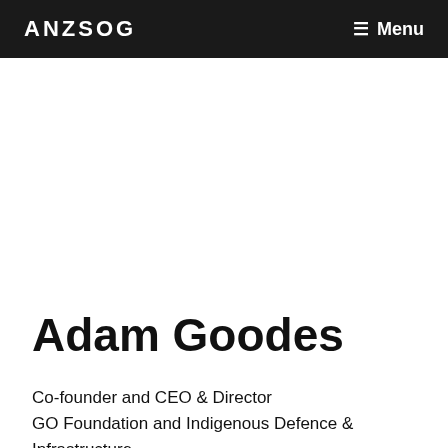ANZSOG | Menu
Adam Goodes
Co-founder and CEO & Director
GO Foundation and Indigenous Defence & Infrastructure
Consortium